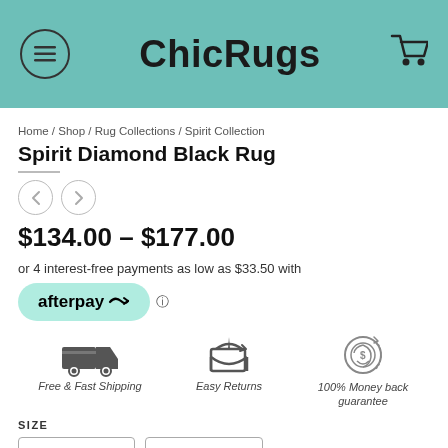ChicRugs
Home / Shop / Rug Collections / Spirit Collection
Spirit Diamond Black Rug
$134.00 – $177.00
or 4 interest-free payments as low as $33.50 with afterpay
[Figure (infographic): Three icons: delivery truck labeled Free & Fast Shipping, open box with arrow labeled Easy Returns, circular money-back badge labeled 100% Money back guarantee]
SIZE
220X150CM  270X180CM